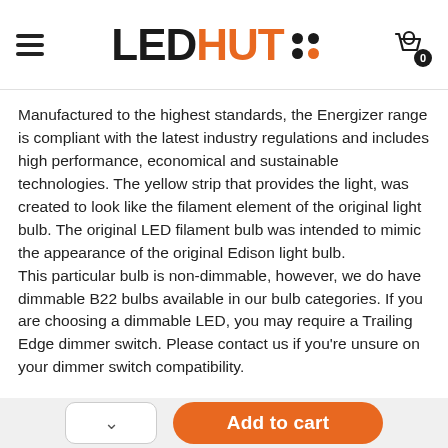LED HUT — navigation header with hamburger menu and shopping cart (0 items)
Manufactured to the highest standards, the Energizer range is compliant with the latest industry regulations and includes high performance, economical and sustainable technologies. The yellow strip that provides the light, was created to look like the filament element of the original light bulb. The original LED filament bulb was intended to mimic the appearance of the original Edison light bulb.
This particular bulb is non-dimmable, however, we do have dimmable B22 bulbs available in our bulb categories. If you are choosing a dimmable LED, you may require a Trailing Edge dimmer switch. Please contact us if you're unsure on your dimmer switch compatibility.
Add to cart